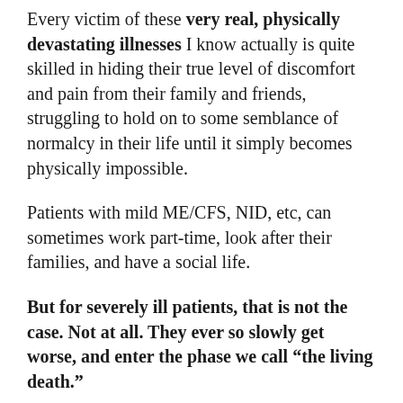Every victim of these very real, physically devastating illnesses I know actually is quite skilled in hiding their true level of discomfort and pain from their family and friends, struggling to hold on to some semblance of normalcy in their life until it simply becomes physically impossible.
Patients with mild ME/CFS, NID, etc, can sometimes work part-time, look after their families, and have a social life.
But for severely ill patients, that is not the case. Not at all. They ever so slowly get worse, and enter the phase we call “the living death.”
A really brief “refresher course” for those not familiar with our illnesses: